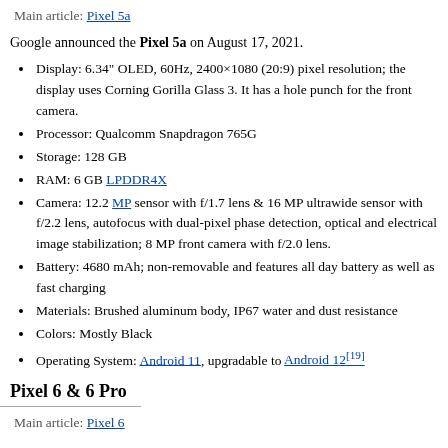Main article: Pixel 5a
Google announced the Pixel 5a on August 17, 2021.
Display: 6.34" OLED, 60Hz, 2400×1080 (20:9) pixel resolution; the display uses Corning Gorilla Glass 3. It has a hole punch for the front camera.
Processor: Qualcomm Snapdragon 765G
Storage: 128 GB
RAM: 6 GB LPDDR4X
Camera: 12.2 MP sensor with f/1.7 lens & 16 MP ultrawide sensor with f/2.2 lens, autofocus with dual-pixel phase detection, optical and electrical image stabilization; 8 MP front camera with f/2.0 lens.
Battery: 4680 mAh; non-removable and features all day battery as well as fast charging
Materials: Brushed aluminum body, IP67 water and dust resistance
Colors: Mostly Black
Operating System: Android 11, upgradable to Android 12[19]
Pixel 6 & 6 Pro
Main article: Pixel 6